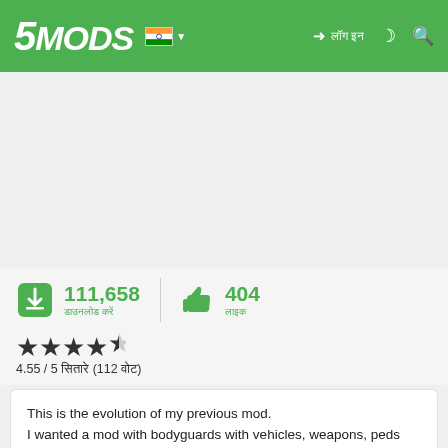5MODS
[Figure (other): Empty image placeholder area for mod screenshot]
111,658 डाउनलोड करें | 404 लाइक
4.55 / 5 सितारे (112 वोट)
This is the evolution of my previous mod.
I wanted a mod with bodyguards with vehicles, weapons, peds and many commands.
For that reason I added all functions that I always wanted.
It's not perfect but I hope you like it as much as I do.